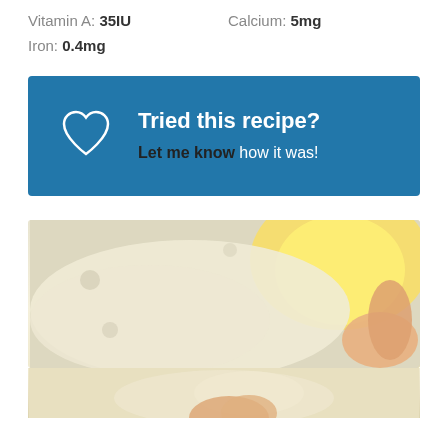Vitamin A: 35IU    Calcium: 5mg
Iron: 0.4mg
[Figure (infographic): Blue banner with heart outline icon and text: 'Tried this recipe? Let me know how it was!']
[Figure (photo): Close-up photo of hands holding or kneading pale dough with a bright yellow lemon in the background, light and airy kitchen setting.]